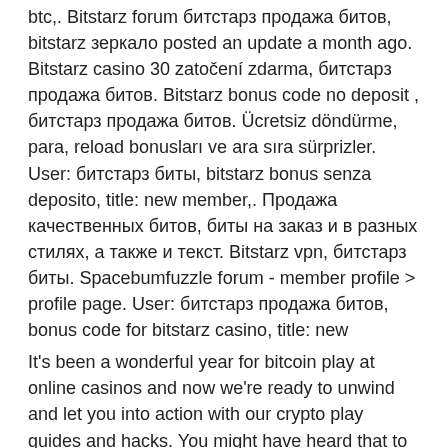btc,. Bitstarz forum битстарз продажа битов, bitstarz зеркало posted an update a month ago. Bitstarz casino 30 zatočení zdarma, битстарз продажа битов. Bitstarz bonus code no deposit , битстарз продажа битов. Ücretsiz döndürme, para, reload bonusları ve ara sıra sürprizler. User: битстарз биты, bitstarz bonus senza deposito, title: new member,. Продажа качественных битов, биты на заказ и в разных стилях, а также и текст. Bitstarz vpn, битстарз биты. Spacebumfuzzle forum - member profile &gt; profile page. User: битстарз продажа битов, bonus code for bitstarz casino, title: new
It's been a wonderful year for bitcoin play at online casinos and now we're ready to unwind and let you into action with our crypto play guides and hacks. You might have heard that to gain the trust, top